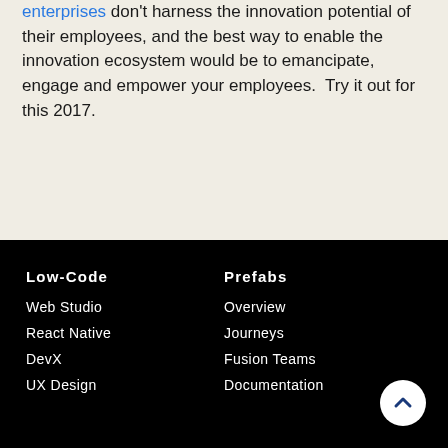enterprises don't harness the innovation potential of their employees, and the best way to enable the innovation ecosystem would be to emancipate, engage and empower your employees.  Try it out for this 2017.
Low-Code | Web Studio | React Native | DevX | UX Design | Prefabs | Overview | Journeys | Fusion Teams | Documentation